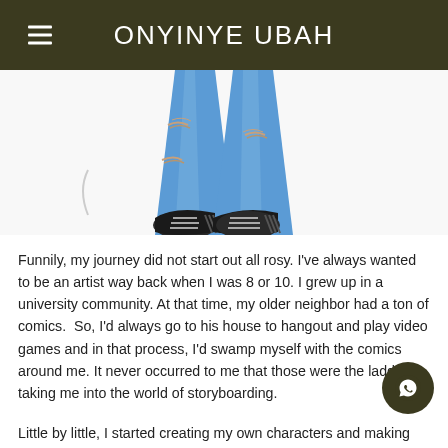ONYINYE UBAH
[Figure (illustration): Illustration of the lower half of a person wearing ripped blue jeans and dark sneakers with white laces, cropped at waist level, centered on white background.]
Funnily, my journey did not start out all rosy. I've always wanted to be an artist way back when I was 8 or 10. I grew up in a university community. At that time, my older neighbor had a ton of comics.  So, I'd always go to his house to hangout and play video games and in that process, I'd swamp myself with the comics around me. It never occurred to me that those were the ladder taking me into the world of storyboarding.
Little by little, I started creating my own characters and making my own stories. My best friend at the time, would write stories